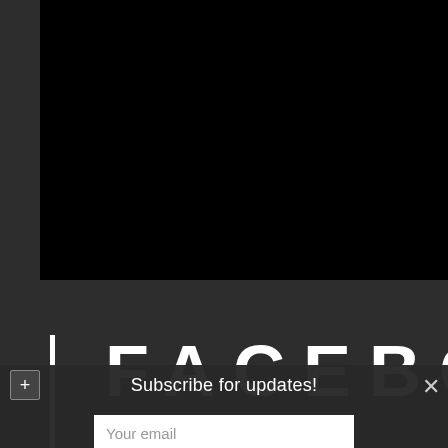[Figure (screenshot): Black image area at top of page, representing a video or photo thumbnail]
[Figure (logo): Facebook logo text in large bold white uppercase letters with vertical white bar accent on dark background]
Subscribe for updates!
Your email
Submit!